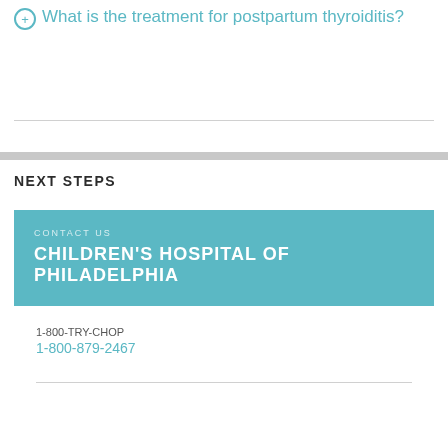What is the treatment for postpartum thyroiditis?
NEXT STEPS
CONTACT US
CHILDREN'S HOSPITAL OF PHILADELPHIA
1-800-TRY-CHOP
1-800-879-2467